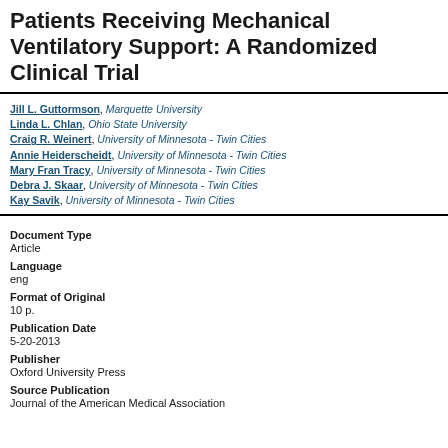Patients Receiving Mechanical Ventilatory Support: A Randomized Clinical Trial
Jill L. Guttormson, Marquette University
Linda L. Chlan, Ohio State University
Craig R. Weinert, University of Minnesota - Twin Cities
Annie Heiderscheidt, University of Minnesota - Twin Cities
Mary Fran Tracy, University of Minnesota - Twin Cities
Debra J. Skaar, University of Minnesota - Twin Cities
Kay Savik, University of Minnesota - Twin Cities
Document Type
Article
Language
eng
Format of Original
10 p.
Publication Date
5-20-2013
Publisher
Oxford University Press
Source Publication
Journal of the American Medical Association